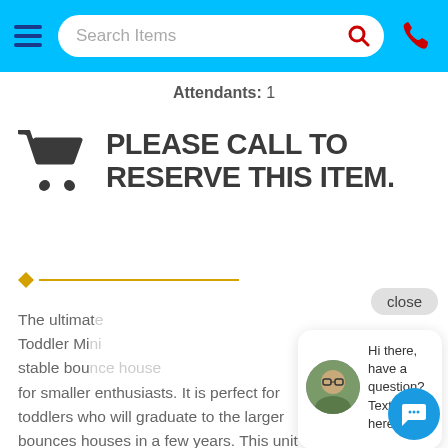[Figure (screenshot): Navigation bar with hamburger menu, search bar reading 'Search Items', red search icon, and red phone icon on a cyan/light-blue background]
Attendants: 1
PLEASE CALL TO RESERVE THIS ITEM.
The ultimat... Toddler Mi... stable boun... for smaller enthusiasts. It is perfect for toddlers who will graduate to the larger bounces houses in a few years. This unit is more than a bounce house with a ball pit that
close
Hi there, have a question? Text us here.